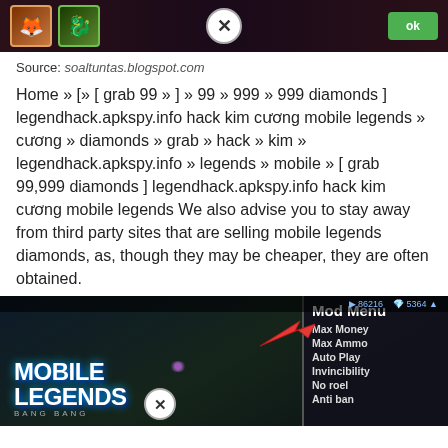[Figure (screenshot): Mobile Legends game screenshot top banner with character icons, close (X) button, and green OK button on dark background]
Source: soaltuntas.blogspot.com
Home » [» [ grab 99 » ] » 99 » 999 » 999 diamonds ] legendhack.apkspy.info hack kim cương mobile legends » cương » diamonds » grab » hack » kim » legendhack.apkspy.info » legends » mobile » [ grab 99,999 diamonds ] legendhack.apkspy.info hack kim cương mobile legends We also advise you to stay away from third party sites that are selling mobile legends diamonds, as, though they may be cheaper, they are often obtained.
[Figure (screenshot): Mobile Legends Bang Bang game screenshot showing dark character with purple glowing eyes, red arrow pointing to top bar stats, Mod Menu overlay on right side with options: Max Money, Max Ammo, Auto Play, Invincibility, No roel, Anti ban. Close (X) button at bottom center.]